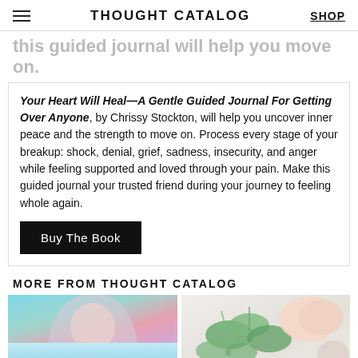THOUGHT CATALOG | SHOP
this guided journal will help you move on.
Your Heart Will Heal—A Gentle Guided Journal For Getting Over Anyone, by Chrissy Stockton, will help you uncover inner peace and the strength to move on. Process every stage of your breakup: shock, denial, grief, sadness, insecurity, and anger while feeling supported and loved through your pain. Make this guided journal your trusted friend during your journey to feeling whole again.
Buy The Book
MORE FROM THOUGHT CATALOG
[Figure (photo): Photo of a woman with colorful pink/teal background, split into two thumbnail sections]
[Figure (photo): Photo of green eucalyptus leaves and a small bowl/dish on a light background]